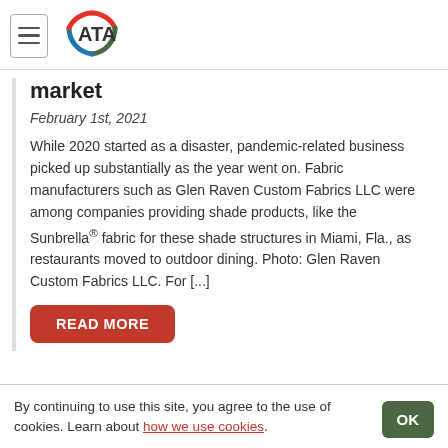ATA (logo)
market
February 1st, 2021
While 2020 started as a disaster, pandemic-related business picked up substantially as the year went on. Fabric manufacturers such as Glen Raven Custom Fabrics LLC were among companies providing shade products, like the Sunbrella® fabric for these shade structures in Miami, Fla., as restaurants moved to outdoor dining. Photo: Glen Raven Custom Fabrics LLC. For [...]
READ MORE
By continuing to use this site, you agree to the use of cookies. Learn about how we use cookies.